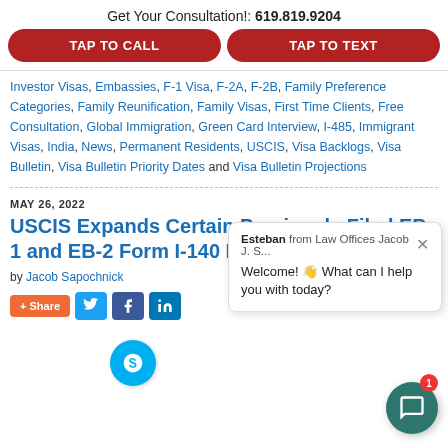Get Your Consultation!: 619.819.9204
TAP TO CALL | TAP TO TEXT
Investor Visas, Embassies, F-1 Visa, F-2A, F-2B, Family Preference Categories, Family Reunification, Family Visas, First Time Clients, Free Consultation, Global Immigration, Green Card Interview, I-485, Immigrant Visas, India, News, Permanent Residents, USCIS, Visa Backlogs, Visa Bulletin, Visa Bulletin Priority Dates and Visa Bulletin Projections
MAY 26, 2022
USCIS Expands Certain Previously Filed EB-1 and EB-2 Form I-140 Petitions
by Jacob Sapochnick
+ Share
Esteban from Law Offices Jacob J. S... Welcome! 👋 What can I help you with today?